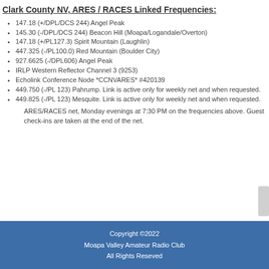Clark County NV, ARES / RACES Linked Frequencies:
147.18 (+/DPL/DCS 244) Angel Peak
145.30 (-/DPL/DCS 244) Beacon Hill (Moapa/Logandale/Overton)
147.18 (+/PL127.3) Spirit Mountain (Laughlin)
447.325 (-/PL100.0) Red Mountain (Boulder City)
927.6625 (-/DPL606) Angel Peak
IRLP Western Reflector Channel 3 (9253)
Echolink Conference Node *CCNVARES* #420139
449.750 (-/PL 123) Pahrump. Link is active only for weekly net and when requested.
449.825 (-/PL 123) Mesquite. Link is active only for weekly net and when requested.
ARES/RACES net, Monday evenings at 7:30 PM on the frequencies above. Guest check-ins are taken at the end of the net.
Copyright ©2022
Moapa Valley Amateur Radio Club
All Rights Reseved